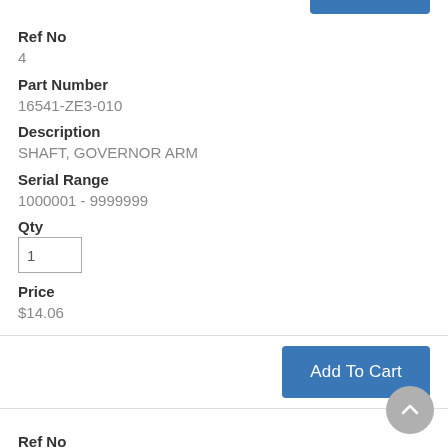Ref No
4
Part Number
16541-ZE3-010
Description
SHAFT, GOVERNOR ARM
Serial Range
1000001 - 9999999
Qty
1
Price
$14.06
Add To Cart
Ref No
6
Part Number
34150-ZH7-013
Description